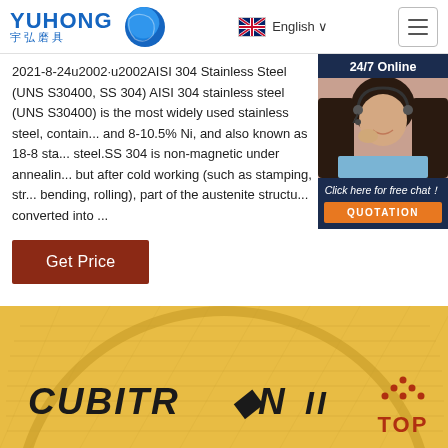[Figure (logo): Yuhong 宇弘磨具 logo with blue wave icon, navigation bar with English language selector and hamburger menu]
2021-8-24u2002·u2002AISI 304 Stainless Steel (UNS S30400, SS 304) AISI 304 stainless steel (UNS S30400) is the most widely used stainless steel, containing and 8-10.5% Ni, and also known as 18-8 stainless steel.SS 304 is non-magnetic under annealing, but after cold working (such as stamping, stretching, bending, rolling), part of the austenite structure converted into ...
[Figure (photo): 24/7 Online chat widget with female customer service representative wearing headset, dark navy background, 'Click here for free chat!' text and orange QUOTATION button]
[Figure (illustration): Get Price button (brown/rust colored)]
[Figure (photo): Bottom section showing a yellow/gold circular grinding disc with CUBITRON II branding and a red TOP icon in the bottom right corner]